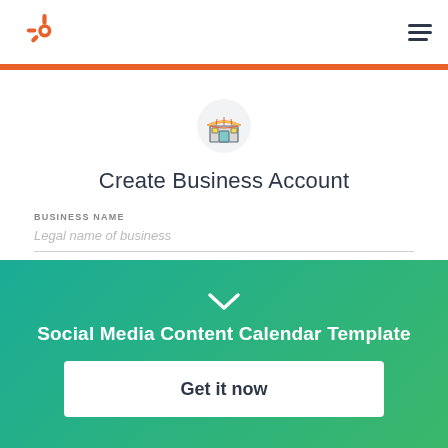HubSpot logo and navigation menu
this form.
[Figure (illustration): Store/shop icon with yellow awning and green accents inside a light grey circle]
Create Business Account
BUSINESS NAME
Legal name of business
YOUR NAME
[Figure (infographic): Teal to green gradient section with chevron down arrow, Social Media Content Calendar Template title, and Get it now button]
Social Media Content Calendar Template
Get it now